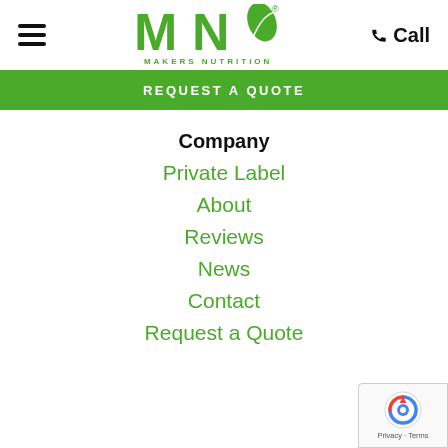[Figure (logo): Makers Nutrition logo - green MN letters with leaf, with brand name below]
Call
REQUEST A QUOTE
Company
Private Label
About
Reviews
News
Contact
Request a Quote